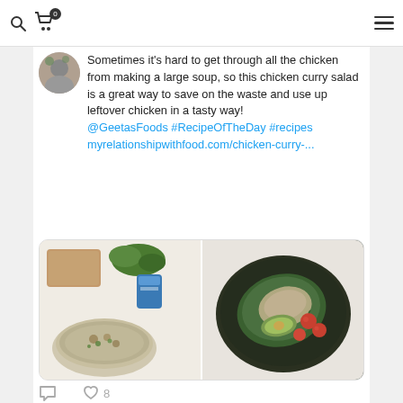Navigation header with search, cart (0), and hamburger menu icons
[Figure (photo): Partial circular avatar/thumbnail visible at top left of social media post]
Sometimes it's hard to get through all the chicken from making a large soup, so this chicken curry salad is a great way to save on the waste and use up leftover chicken in a tasty way! @GeetasFoods #RecipeOfTheDay #recipes myrelationshipwithfood.com/chicken-curry-...
[Figure (photo): Two food photos side by side: left shows a bowl of chicken curry salad with herbs, a block of something, a spice jar, and greenery on a white surface; right shows a dark plate with a green leaf wrap containing chicken curry salad, avocado slices, and cherry tomatoes]